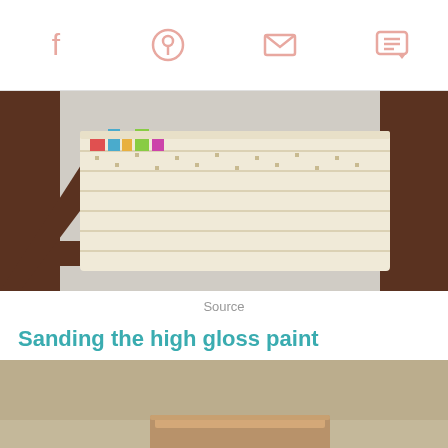Social icons: Facebook, Pinterest, Email, Comment
[Figure (photo): Close-up photo of dark brown wooden furniture shelf with a woven white basket containing colorful items, set on beige carpet]
Source
Sanding the high gloss paint
[Figure (photo): Close-up photo of a beige/tan surface being sanded, with a wooden sanding block visible]